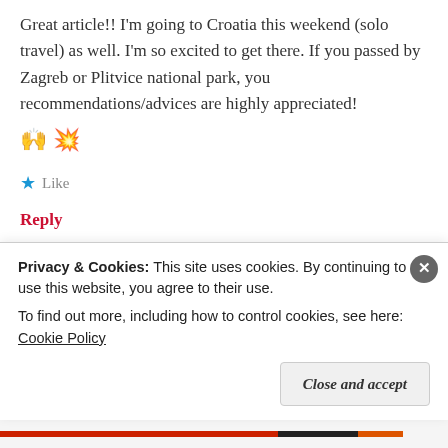Great article!! I'm going to Croatia this weekend (solo travel) as well. I'm so excited to get there. If you passed by Zagreb or Plitvice national park, you recommendations/advices are highly appreciated! 🙌 💥
★ Like
Reply
thebritishwandoress   September 14
Privacy & Cookies: This site uses cookies. By continuing to use this website, you agree to their use.
To find out more, including how to control cookies, see here: Cookie Policy
Close and accept